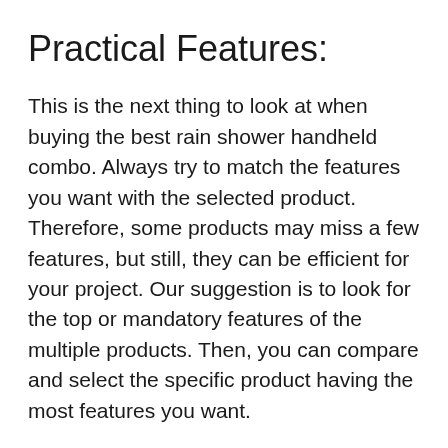Practical Features:
This is the next thing to look at when buying the best rain shower handheld combo. Always try to match the features you want with the selected product. Therefore, some products may miss a few features, but still, they can be efficient for your project. Our suggestion is to look for the top or mandatory features of the multiple products. Then, you can compare and select the specific product having the most features you want.
It is better to know some generic features of most products. But you may also prefer extra or unique features for better satisfaction.